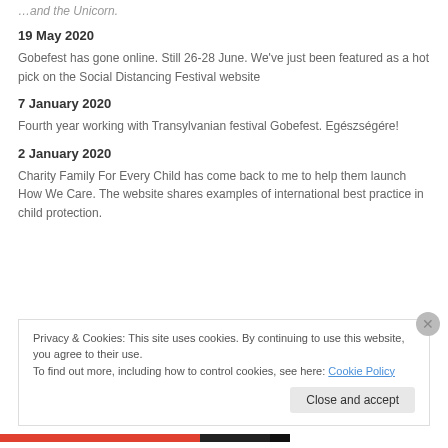19 May 2020
Gobefest has gone online. Still 26-28 June. We've just been featured as a hot pick on the Social Distancing Festival website
7 January 2020
Fourth year working with Transylvanian festival Gobefest. Egészségére!
2 January 2020
Charity Family For Every Child has come back to me to help them launch How We Care. The website shares examples of international best practice in child protection.
Privacy & Cookies: This site uses cookies. By continuing to use this website, you agree to their use.
To find out more, including how to control cookies, see here: Cookie Policy
Close and accept